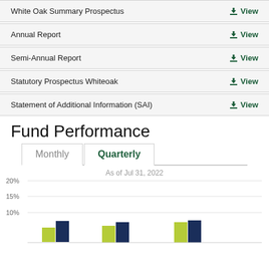White Oak Summary Prospectus   ⬇ View
Annual Report   ⬇ View
Semi-Annual Report   ⬇ View
Statutory Prospectus Whiteoak   ⬇ View
Statement of Additional Information (SAI)   ⬇ View
Fund Performance
Monthly   Quarterly
As of Jul 31, 2022
[Figure (grouped-bar-chart): Fund Performance (Quarterly)]